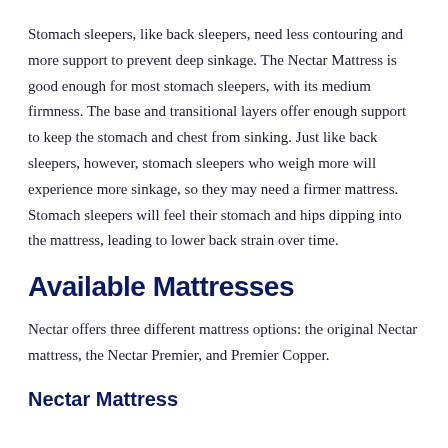Stomach sleepers, like back sleepers, need less contouring and more support to prevent deep sinkage. The Nectar Mattress is good enough for most stomach sleepers, with its medium firmness. The base and transitional layers offer enough support to keep the stomach and chest from sinking. Just like back sleepers, however, stomach sleepers who weigh more will experience more sinkage, so they may need a firmer mattress. Stomach sleepers will feel their stomach and hips dipping into the mattress, leading to lower back strain over time.
Available Mattresses
Nectar offers three different mattress options: the original Nectar mattress, the Nectar Premier, and Premier Copper.
Nectar Mattress